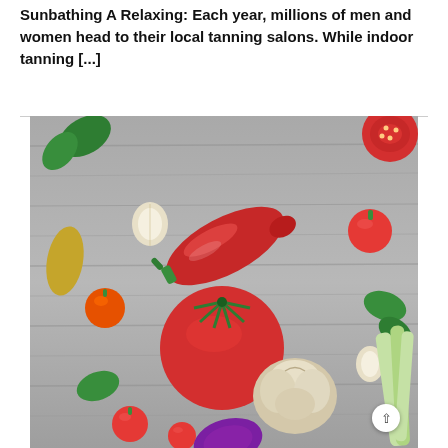Sunbathing A Relaxing: Each year, millions of men and women head to their local tanning salons. While indoor tanning [...]
[Figure (photo): Overhead flat-lay photo of assorted vegetables on a grey wooden surface: a large red pepper, tomatoes (whole and halved), garlic cloves and a garlic bulb, basil leaves, a yellow vegetable, a red onion, celery stalks, and cherry tomatoes.]